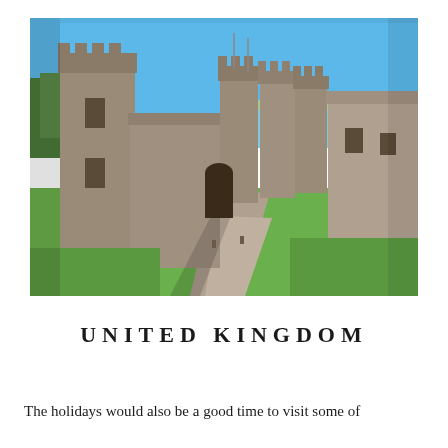[Figure (photo): Aerial/elevated view of a large medieval castle courtyard showing stone walls, multiple towers with battlements, green grass interior, and a blue sky with water visible in the background. The castle appears to be Caernarfon Castle in Wales.]
UNITED KINGDOM
The holidays would also be a good time to visit some of